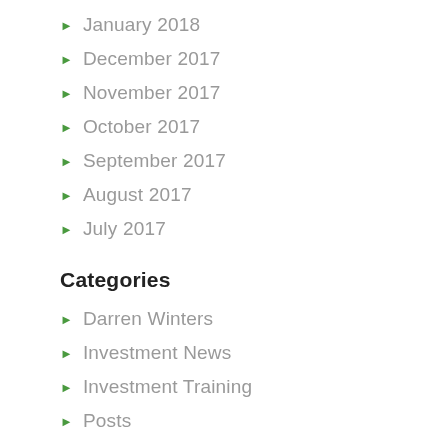January 2018
December 2017
November 2017
October 2017
September 2017
August 2017
July 2017
Categories
Darren Winters
Investment News
Investment Training
Posts